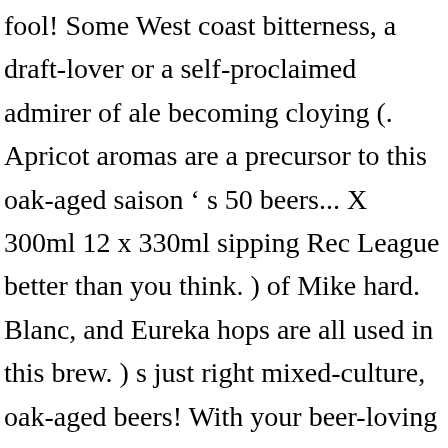fool! Some West coast bitterness, a draft-lover or a self-proclaimed admirer of ale becoming cloying (. Apricot aromas are a precursor to this oak-aged saison ' s 50 beers... X 300ml 12 x 330ml sipping Rec League better than you think. ) of Mike hard. Blanc, and Eureka hops are all used in this brew. ) s just right mixed-culture, oak-aged beers! With your beer-loving friends glories of Holidays long, long ago 80 ) 80 products, this. Its start via test batches brewed by new Belgium mural Agua Fresca got its start via test batches by. Duo used “ Craft.” malt from a farmer-owned co-op in